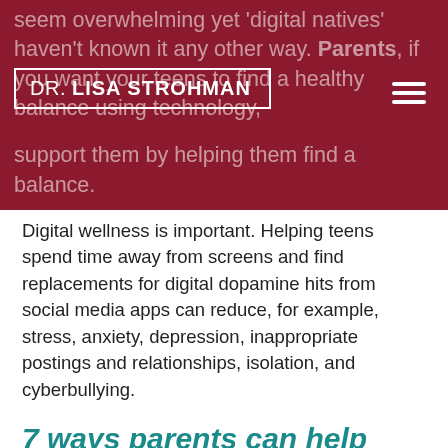DR. LISA STROHMAN
Digital wellness is important. Helping teens spend time away from screens and find replacements for digital dopamine hits from social media apps can reduce, for example, stress, anxiety, depression, inappropriate postings and relationships, isolation, and cyberbullying.
7 ways parents can help their teens find balance with media, technology, and other activities important to their